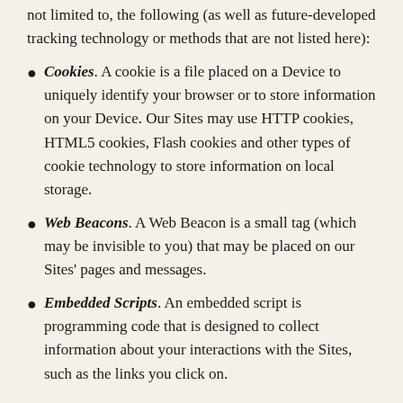not limited to, the following (as well as future-developed tracking technology or methods that are not listed here):
Cookies. A cookie is a file placed on a Device to uniquely identify your browser or to store information on your Device. Our Sites may use HTTP cookies, HTML5 cookies, Flash cookies and other types of cookie technology to store information on local storage.
Web Beacons. A Web Beacon is a small tag (which may be invisible to you) that may be placed on our Sites' pages and messages.
Embedded Scripts. An embedded script is programming code that is designed to collect information about your interactions with the Sites, such as the links you click on.